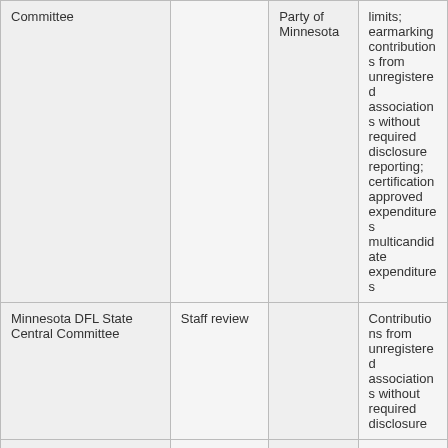| Committee |  | Party of Minnesota | limits; earmarking contributions from unregistered associations without required disclosure reporting; certification approved expenditures multicandidate expenditures |
| Minnesota DFL State Central Committee | Staff review |  | Contributions from unregistered associations without required disclosure |
| Minnesota DFL State Central Committee | Staff review |  | Contributions from unregistered associations |